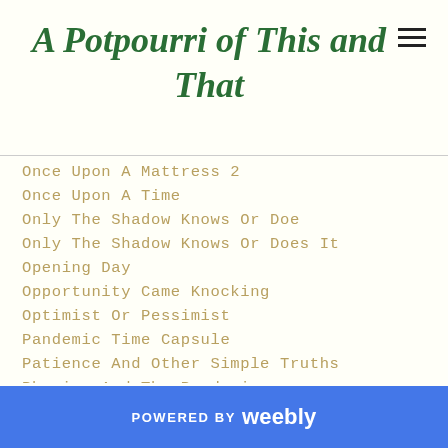A Potpourri of This and That
Once Upon A Mattress 2
Once Upon A Time
Only The Shadow Knows Or Doe
Only The Shadow Knows Or Does It
Opening Day
Opportunity Came Knocking
Optimist Or Pessimist
Pandemic Time Capsule
Patience And Other Simple Truths
Physics And The Pandemic
Prescription Nature
Procrastination? Maybe Just Delay
Raspberry Pie MakeOver
Re-Imagined Fairy Tales
POWERED BY weebly